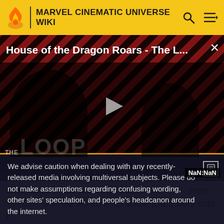MARVEL CINEMATIC UNIVERSE WIKI
[Figure (screenshot): Video player showing 'House of the Dragon Roars - The L...' with a play button in the center, diagonal red and black striped background, dark silhouette figures, THE LOOP watermark, and NaN:NaN timestamp. Close button (×) in top right.]
towards jail under armed guards, Wilson Fisk soon escaped with the aid from his soldiers and went onto th
We advise caution when dealing with any recently-released media involving multiversal subjects. Please do not make assumptions regarding confusing wording, other sites' speculation, and people's headcanon around the internet.